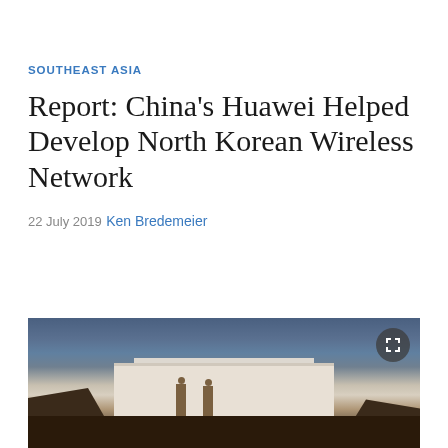SOUTHEAST ASIA
Report: China's Huawei Helped Develop North Korean Wireless Network
22 July 2019
Ken Bredemeier
[Figure (photo): Photograph of North Korean statues in front of a large white building, with rocky hillsides framing both sides. Two large bronze statues are visible on a hill with a white monumental building behind them, photographed at dusk or dawn with a blue-gray sky.]